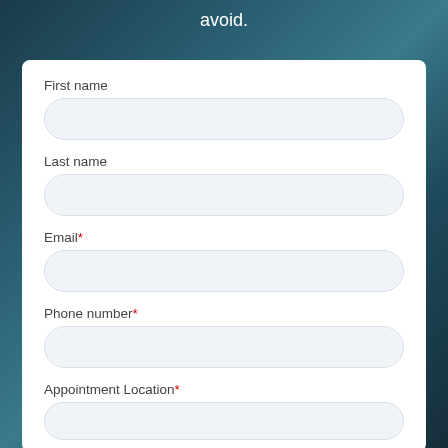avoid.
First name
Last name
Email*
Phone number*
Appointment Location*